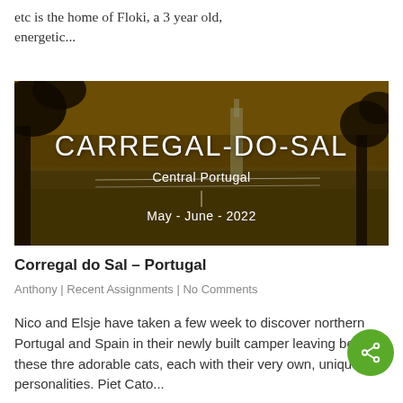etc is the home of Floki, a 3 year old, energetic...
[Figure (photo): Landscape photo of Carregal-do-Sal, Central Portugal, with trees silhouetted in foreground and golden rural scenery. Overlaid text reads: CARREGAL-DO-SAL / Central Portugal / May - June - 2022]
Corregal do Sal – Portugal
Anthony | Recent Assignments | No Comments
Nico and Elsje have taken a few week to discover northern Portugal and Spain in their newly built camper leaving behind these three adorable cats, each with their very own, unique personalities. Piet Cato...